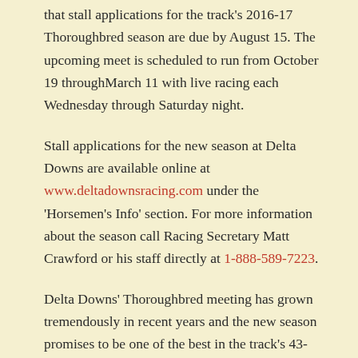that stall applications for the track's 2016-17 Thoroughbred season are due by August 15. The upcoming meet is scheduled to run from October 19 throughMarch 11 with live racing each Wednesday through Saturday night.
Stall applications for the new season at Delta Downs are available online at www.deltadownsracing.com under the 'Horsemen's Info' section. For more information about the season call Racing Secretary Matt Crawford or his staff directly at 1-888-589-7223.
Delta Downs' Thoroughbred meeting has grown tremendously in recent years and the new season promises to be one of the best in the track's 43-year history. The highlight of the 84-day stand will come on Saturday, November 19 when the track hosts the 14th edition of Jackpot Day which will showcase the richest race of the year, the $1,000,000 Delta Downs Jackpot (Gr. 3). The Jackpot